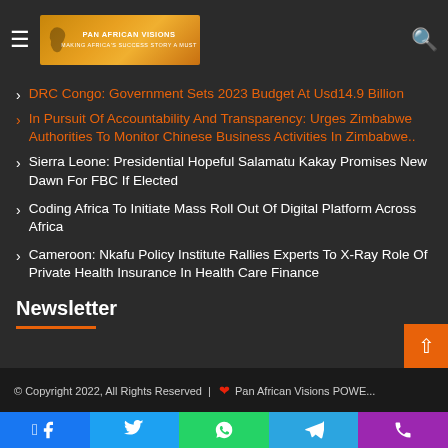Pan African Visions – Making Africa Success Story A Must
DR Congo: Government Sets 2023 Budget At Usd14.9 Billion
In Pursuit Of Accountability And Transparency: Urges Zimbabwe Authorities To Monitor Chinese Business Activities In Zimbabwe..
Sierra Leone: Presidential Hopeful Salamatu Kakay Promises New Dawn For FBC If Elected
Coding Africa To Initiate Mass Roll Out Of Digital Platform Across Africa
Cameroon: Nkafu Policy Institute Rallies Experts To X-Ray Role Of Private Health Insurance In Health Care Finance
Newsletter
© Copyright 2022, All Rights Reserved | ❤ Pan African Visions POWE...